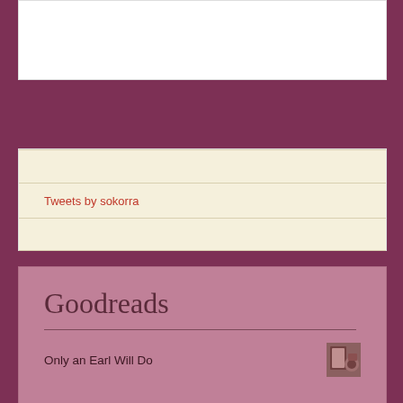[Figure (other): White rectangular box at top of page, likely an embedded widget or image placeholder]
Tweets by sokorra
Goodreads
Only an Earl Will Do